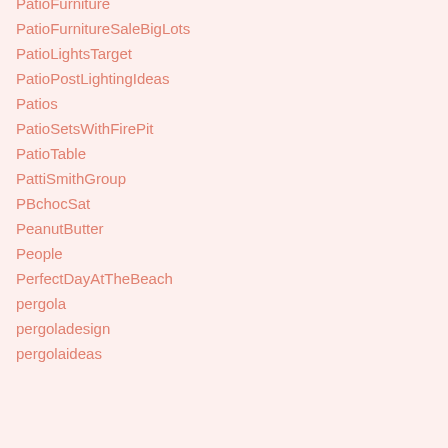PatioFurniture
PatioFurnitureSaleBigLots
PatioLightsTarget
PatioPostLightingIdeas
Patios
PatioSetsWithFirePit
PatioTable
PattiSmithGroup
PBchocSat
PeanutButter
People
PerfectDayAtTheBeach
pergola
pergoladesign
pergolaideas